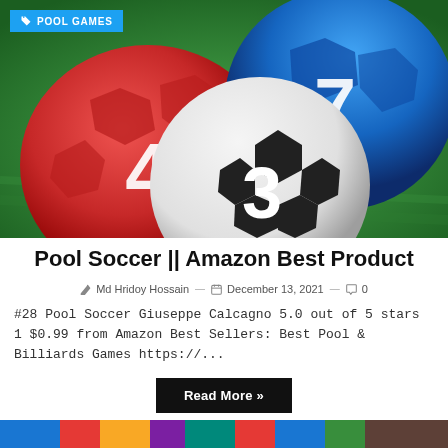[Figure (photo): Pool soccer game screenshot showing colorful balls with numbers 3, 4, 7 on a green background]
POOL GAMES
Pool Soccer || Amazon Best Product
✏ Md Hridoy Hossain — 📅 December 13, 2021 — 🗨 0
#28 Pool Soccer Giuseppe Calcagno 5.0 out of 5 stars 1 $0.99 from Amazon Best Sellers: Best Pool & Billiards Games https://...
Read More »
[Figure (screenshot): Partial screenshot of another game article at the bottom of the page]